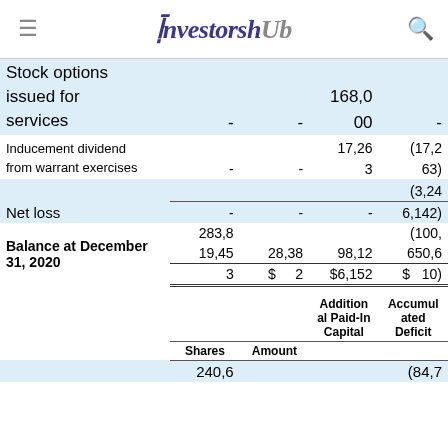investorsHub
|  | Shares | Amount | Additional Paid-In Capital | Accumulated Deficit |
| --- | --- | --- | --- | --- |
| Stock options issued for services | - | - | 168,000 | - |
| Inducement dividend from warrant exercises | - | - | 17,263 | (17,263) |
| Net loss | - | - | - | (3,246,142) |
| Balance at December 31, 2020 | 283,819,453 | $28,382 | $6,152 | $(100,650,610) |
|  | Shares | Amount | Additional Paid-In Capital | Accumulated Deficit |
| --- | --- | --- | --- | --- |
|  | 240,6... |  |  | (84,7... |